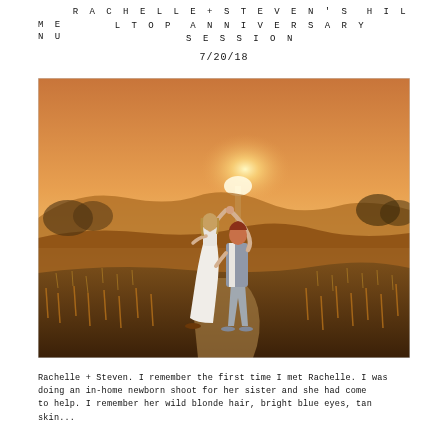RACHELLE + STEVEN'S HILLTOP ANNIVERSARY MENU SESSION
7/20/18
[Figure (photo): A couple dancing on a hilltop trail at golden hour sunset. The woman wears a long white dress and the man wears a grey vest. Rolling golden hills and warm sunset glow in background.]
Rachelle + Steven. I remember the first time I met Rachelle. I was doing an in-home newborn shoot for her sister and she had come to help. I remember her wild blonde hair, bright blue eyes, tan skin...